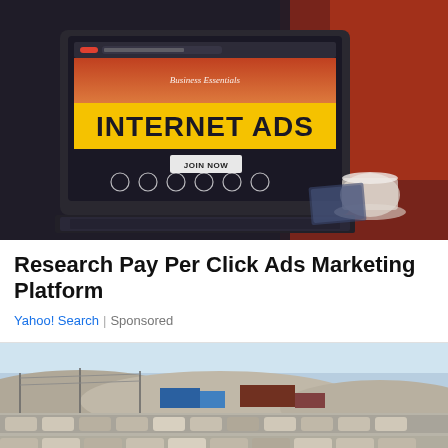[Figure (photo): Laptop computer displaying a website with yellow banner reading 'INTERNET ADS' and 'Business Essentials' text, with a JOIN NOW button, on a dark desk with coffee cup in background]
Research Pay Per Click Ads Marketing Platform
Yahoo! Search | Sponsored
[Figure (photo): Aerial view of a large car lot or parking area filled with many vehicles, with mountains and industrial buildings in the background under a clear sky]